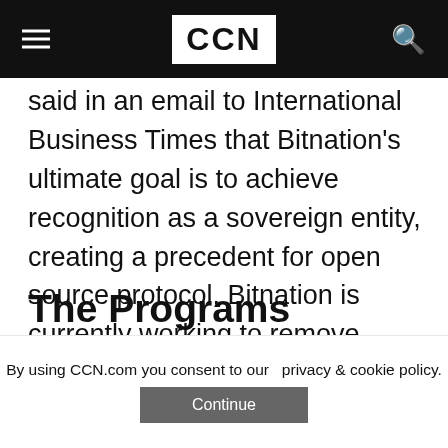CCN
said in an email to International Business Times that Bitnation's ultimate goal is to achieve recognition as a sovereign entity, creating a precedent for open source protocol. Bitnation is currently working to remove borders for people affected by the current refugee crisis.
The Programs Overlap In Some Areas
Bitnation and Estoni...
By using CCN.com you consent to our  privacy & cookie policy.
Continue